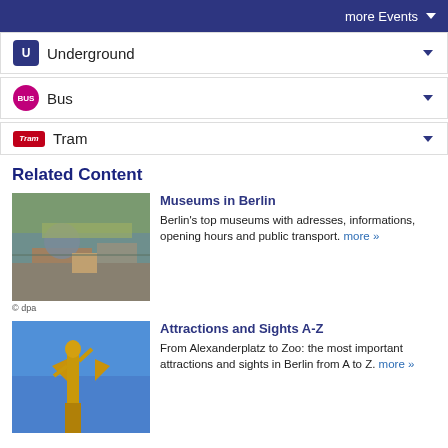more Events
Underground
Bus
Tram
Related Content
[Figure (photo): Aerial view of Berlin city center with river and buildings]
© dpa
Museums in Berlin
Berlin's top museums with adresses, informations, opening hours and public transport. more »
[Figure (photo): Gold statue of Victoria angel figure against blue sky]
Attractions and Sights A-Z
From Alexanderplatz to Zoo: the most important attractions and sights in Berlin from A to Z. more »